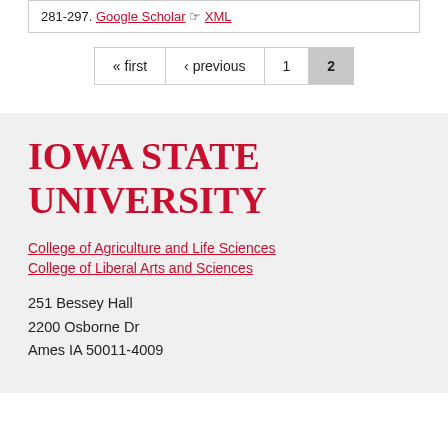281-297. Google Scholar XML
« first ‹ previous 1 2
[Figure (logo): Iowa State University logo text in red serif font]
College of Agriculture and Life Sciences
College of Liberal Arts and Sciences
251 Bessey Hall
2200 Osborne Dr
Ames IA 50011-4009